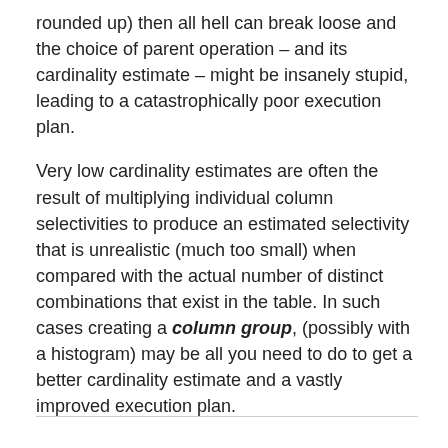rounded up) then all hell can break loose and the choice of parent operation – and its cardinality estimate – might be insanely stupid, leading to a catastrophically poor execution plan.
Very low cardinality estimates are often the result of multiplying individual column selectivities to produce an estimated selectivity that is unrealistic (much too small) when compared with the actual number of distinct combinations that exist in the table. In such cases creating a column group, (possibly with a histogram) may be all you need to do to get a better cardinality estimate and a vastly improved execution plan.